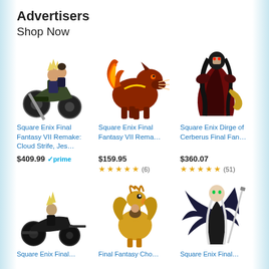Advertisers
Shop Now
[Figure (illustration): Square Enix Final Fantasy VII Remake figure: Cloud Strife on motorcycle with Jessie]
[Figure (illustration): Square Enix Final Fantasy VII Remake Red XIII beast figure]
[Figure (illustration): Square Enix Dirge of Cerberus Final Fantasy figure - cloaked character]
Square Enix Final Fantasy VII Remake: Cloud Strife, Jes…
Square Enix Final Fantasy VII Rema…
Square Enix Dirge of Cerberus Final Fan…
$409.99
$159.95
$360.07
(6)
(51)
[Figure (illustration): Square Enix Final Fantasy motorcycle figure - dark bike]
[Figure (illustration): Final Fantasy Chocobo figure - yellow bird]
[Figure (illustration): Square Enix Final Fantasy Sephiroth figure with wings]
Square Enix Final…
Final Fantasy Cho…
Square Enix Final…